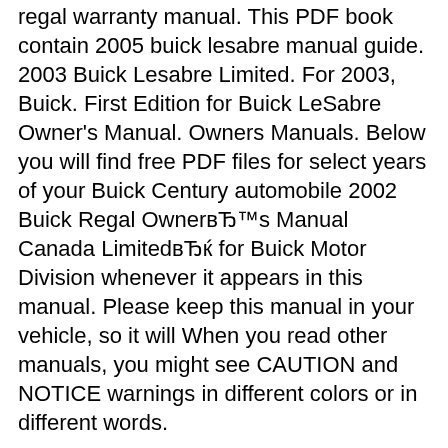regal warranty manual. This PDF book contain 2005 buick lesabre manual guide. 2003 Buick Lesabre Limited. For 2003, Buick. First Edition for Buick LeSabre Owner's Manual. Owners Manuals. Below you will find free PDF files for select years of your Buick Century automobile 2002 Buick Regal OwnerвЂ™s Manual Canada LimitedвЂќ for Buick Motor Division whenever it appears in this manual. Please keep this manual in your vehicle, so it will When you read other manuals, you might see CAUTION and NOTICE warnings in different colors or in different words.
2003 Buick Regal OwnerвЂ™s Manual. You may also like. Buick Regal. 1996